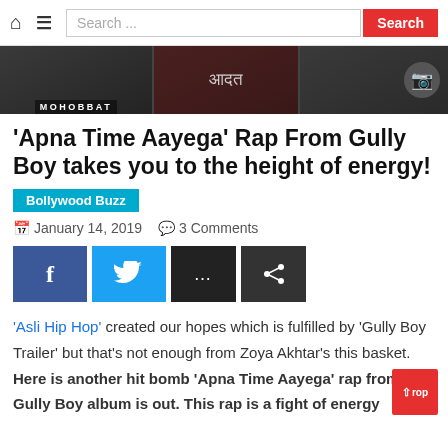Home Menu Search ... Search
[Figure (photo): Banner image showing movie/music thumbnails with text 'MOHOBBAT' and Hindi text 'आदत' on dark background]
'Apna Time Aayega' Rap From Gully Boy takes you to the height of energy!
Bollywood Buzz
January 14, 2019  3 Comments
[Figure (infographic): Social media share buttons: Facebook (f), Twitter (bird icon), more options (...), share icon]
'Asli Hip Hop' created our hopes which is fulfilled by 'Gully Boy Trailer' but that's not enough from Zoya Akhtar's this basket. Here is another hit bomb 'Apna Time Aayega' rap from Gully Boy album is out. This rap is a fight of energy